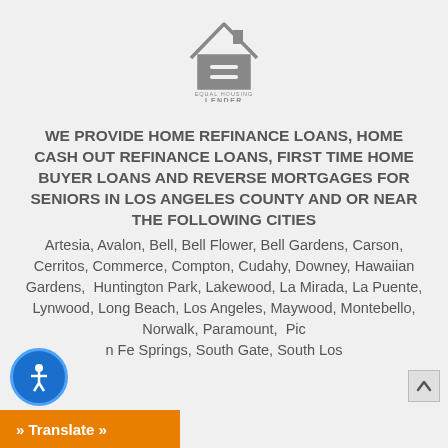[Figure (logo): Equal Housing Lender logo — house outline with an equals sign inside, with text 'EQUAL HOUSING LENDER' below]
WE PROVIDE HOME REFINANCE LOANS, HOME CASH OUT REFINANCE LOANS, FIRST TIME HOME BUYER LOANS AND REVERSE MORTGAGES FOR SENIORS IN LOS ANGELES COUNTY AND OR NEAR THE FOLLOWING CITIES
Artesia, Avalon, Bell, Bell Flower, Bell Gardens, Carson, Cerritos, Commerce, Compton, Cudahy, Downey, Hawaiian Gardens,  Huntington Park, Lakewood, La Mirada, La Puente, Lynwood, Long Beach, Los Angeles, Maywood, Montebello, Norwalk, Paramount,  Pic... n Fe Springs, South Gate, South Los